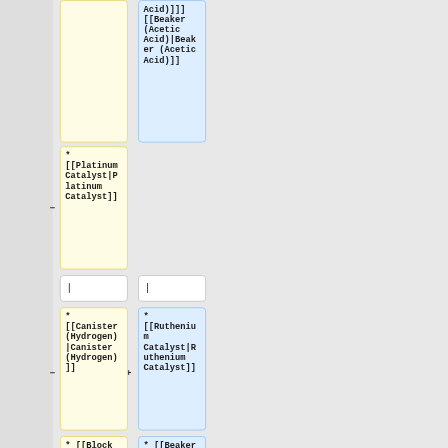Acid)]]]
[[Beaker (Acetic Acid)|Beaker (Acetic Acid)]]
* [[Platinum Catalyst|Platinum Catalyst]]
|
|
* [[Canister (Hydrogen)|Canister (Hydrogen)]]
* [[Ruthenium Catalyst|Ruthenium Catalyst]]
* [[Block
* [[Beaker